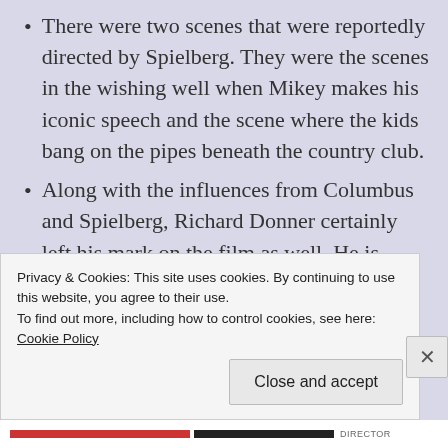There were two scenes that were reportedly directed by Spielberg. They were the scenes in the wishing well when Mikey makes his iconic speech and the scene where the kids bang on the pipes beneath the country club.
Along with the influences from Columbus and Spielberg, Richard Donner certainly left his mark on the film as well. He is credited with taking a wild storyline that uniquely navigates several movie genres and making it a cohesive film. He also added classic
Privacy & Cookies: This site uses cookies. By continuing to use this website, you agree to their use.
To find out more, including how to control cookies, see here: Cookie Policy
Close and accept